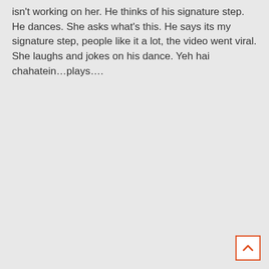isn't working on her. He thinks of his signature step. He dances. She asks what's this. He says its my signature step, people like it a lot, the video went viral. She laughs and jokes on his dance. Yeh hai chahatein…plays….
[Figure (other): Back-to-top button: a white square with an orange/red border containing an upward-pointing chevron arrow in orange/red color, positioned in the bottom-right corner of the page.]